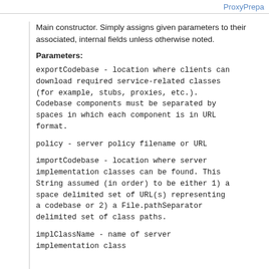ProxyPrepa
Main constructor. Simply assigns given parameters to their associated, internal fields unless otherwise noted.
Parameters:
exportCodebase - location where clients can download required service-related classes (for example, stubs, proxies, etc.). Codebase components must be separated by spaces in which each component is in URL format.
policy - server policy filename or URL
importCodebase - location where server implementation classes can be found. This String assumed (in order) to be either 1) a space delimited set of URL(s) representing a codebase or 2) a File.pathSeparator delimited set of class paths.
implClassName - name of server implementation class